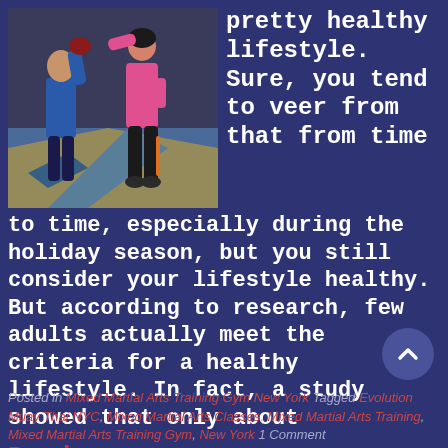[Figure (photo): Two people sparring in a martial arts gym — one in blue long sleeves holding a punch mitt, one in pink/orange top and black pants throwing a punch. Blue/yellow mat flooring in background.]
pretty healthy lifestyle. Sure, you tend to veer from that from time to time, especially during the holiday season, but you still consider your lifestyle healthy. But according to research, few adults actually meet the criteria for a healthy lifestyle. In fact, a study showed that only about
Read more »
Posted in Mixed Martial Arts Training Gym New York Tagged Evolution Muay Thai NYC, Mixed Martial Arts Classes, Mixed Martial Arts Training, Mixed Martial Arts Training Gym, New York 1 Comment